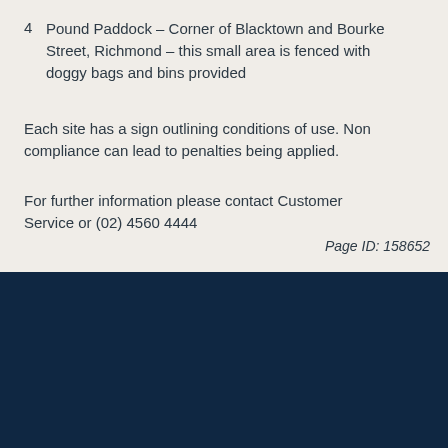4  Pound Paddock – Corner of Blacktown and Bourke Street, Richmond – this small area is fenced with doggy bags and bins provided
Each site has a sign outlining conditions of use. Non compliance can lead to penalties being applied.
For further information please contact Customer Service or (02) 4560 4444
Page ID: 158652
Acknowledgement of Country
Council acknowledges the Darug and Darkinjung people as the Traditional Owners and Custodians of the Hawkesbury and pays respect to Elders past, present and emerging.